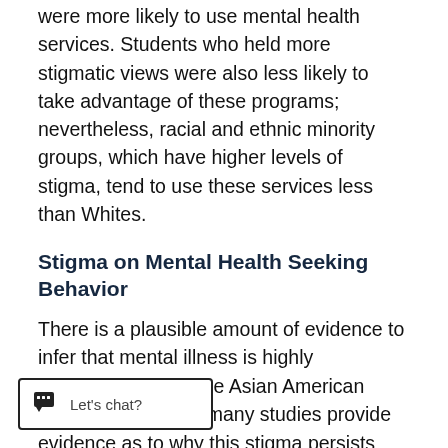were more likely to use mental health services. Students who held more stigmatic views were also less likely to take advantage of these programs; nevertheless, racial and ethnic minority groups, which have higher levels of stigma, tend to use these services less than Whites.
Stigma on Mental Health Seeking Behavior
There is a plausible amount of evidence to infer that mental illness is highly stigmatized within the Asian American community, but not many studies provide evidence as to why this stigma persists progressive integration and acceptance of mental illness in society as a